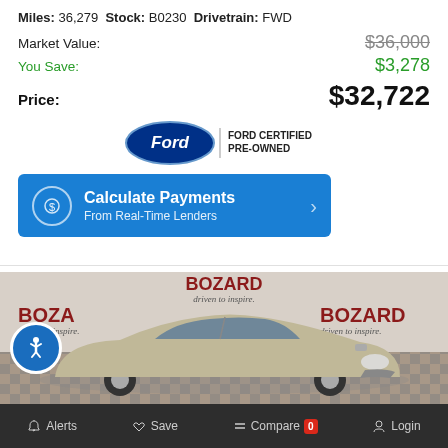Miles: 36,279  Stock: B0230  Drivetrain: FWD
Market Value: $36,000
You Save: $3,278
Price: $32,722
[Figure (logo): Ford Certified Pre-Owned badge]
Calculate Payments From Real-Time Lenders
[Figure (photo): Silver Toyota Camry Hybrid parked at Bozard dealership with 'Driven to Inspire' signage]
Alerts  Save  Compare 0  Login